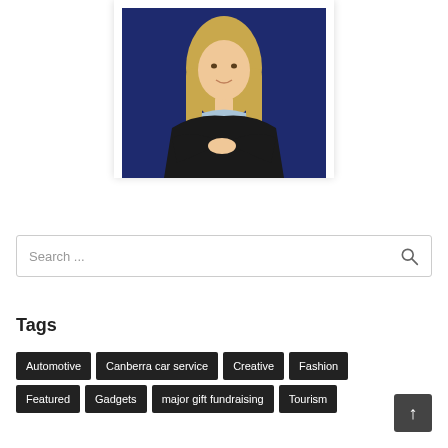[Figure (photo): Professional headshot of a blonde woman in a black blazer and light blue shirt, arms crossed, against a dark navy blue background, displayed in a white polaroid-style frame]
Search ...
Tags
Automotive
Canberra car service
Creative
Fashion
Featured
Gadgets
major gift fundraising
Tourism